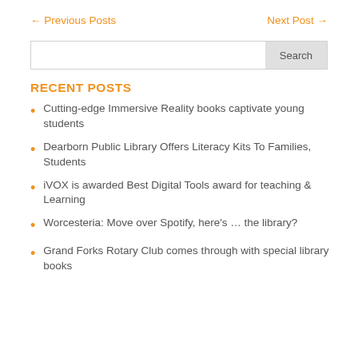← Previous Posts    Next Post →
Search
RECENT POSTS
Cutting-edge Immersive Reality books captivate young students
Dearborn Public Library Offers Literacy Kits To Families, Students
iVOX is awarded Best Digital Tools award for teaching & Learning
Worcesteria: Move over Spotify, here's … the library?
Grand Forks Rotary Club comes through with special library books